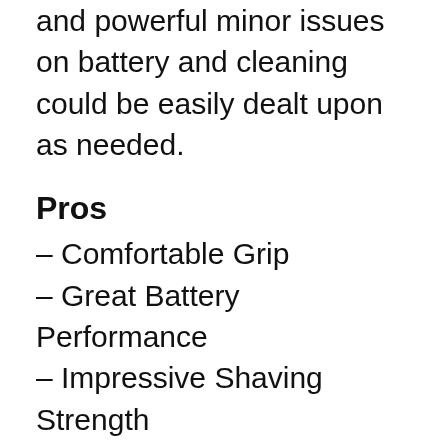and powerful minor issues on battery and cleaning could be easily dealt upon as needed.
Pros
– Comfortable Grip
– Great Battery Performance
– Impressive Shaving Strength
– User-Friendly Menu and Display